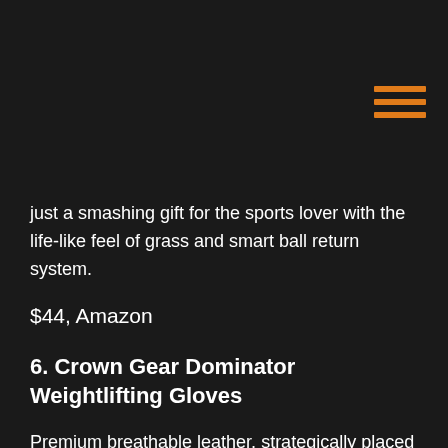[Figure (other): Hamburger menu icon with three orange horizontal lines]
just a smashing gift for the sports lover with the life-like feel of grass and smart ball return system.
$44, Amazon
6. Crown Gear Dominator Weightlifting Gloves
Premium breathable leather, strategically placed fingers, and easy removal system – are just several advantages behind those corkers. Those bastards are really innovative workout gloves!